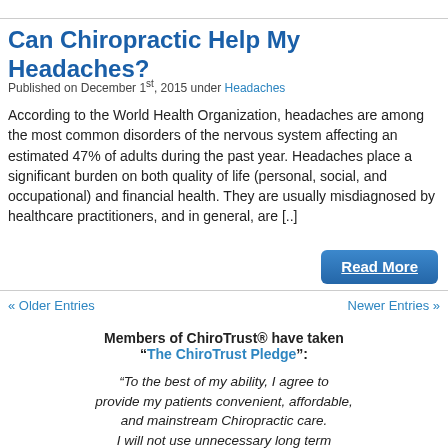Can Chiropractic Help My Headaches?
Published on December 1st, 2015 under Headaches
According to the World Health Organization, headaches are among the most common disorders of the nervous system affecting an estimated 47% of adults during the past year. Headaches place a significant burden on both quality of life (personal, social, and occupational) and financial health. They are usually misdiagnosed by healthcare practitioners, and in general, are [..]
« Older Entries
Newer Entries »
Members of ChiroTrust® have taken "The ChiroTrust Pledge":
“To the best of my ability, I agree to provide my patients convenient, affordable, and mainstream Chiropractic care. I will not use unnecessary long term...